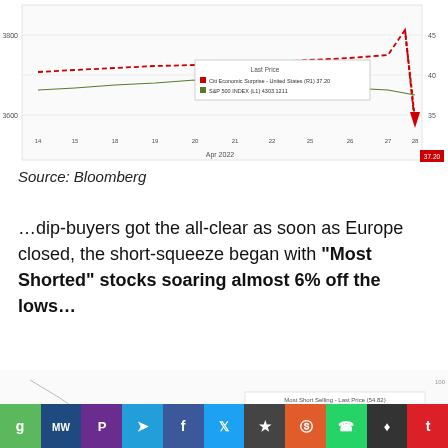[Figure (continuous-plot): Bloomberg chart showing Citi Economic Surprise - United States (R1) at 37.20 and S&P 500 INDEX (L1) at 4303.1211, partial view cropped at top showing a sharp drop in the red dashed line (Citi Economic Surprise) near April 2022. Y-axis left shows ~3600-3800, right axis shows ~35-45.]
Source: Bloomberg
…dip-buyers got the all-clear as soon as Europe closed, the short-squeeze began with "Most Shorted" stocks soaring almost 6% off the lows…
[Figure (continuous-plot): Partial Bloomberg chart visible at bottom of page showing a line chart with a sharp decline and legend showing 'Most Short Selling - Last Price (54.82)']
[Figure (other): Social media sharing bar with icons for: G (green), MW (navy), Peerlist (purple), Telegram (blue), Facebook (dark blue), Twitter (light blue), Bookmark (dark), Reddit (orange), WhatsApp (green), lamp/wirecutter (dark), Tumblr (red)]